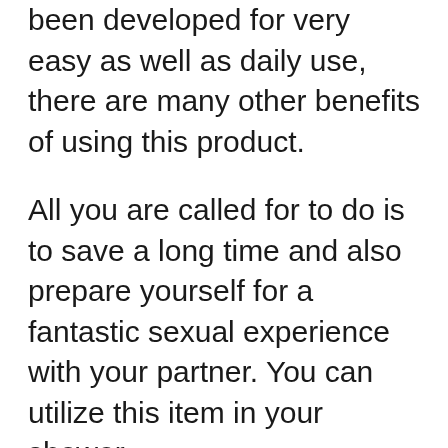been developed for very easy as well as daily use, there are many other benefits of using this product.
All you are called for to do is to save a long time and also prepare yourself for a fantastic sexual experience with your partner. You can utilize this item in your shower.
It takes only 15 mins for this gadget to aid you accomplish every little thing that you have been long craving. Not just this, however the manufacturers additionally assert that you can accomplish a penile size rise by 1-3 inches upon erection on the very first use of this item.
This penis pump could additionally aid you in